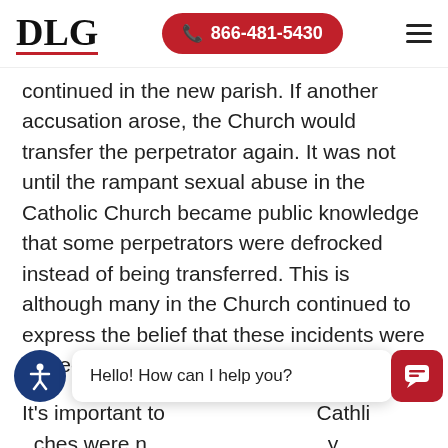DLG  866-481-5430
continued in the new parish. If another accusation arose, the Church would transfer the perpetrator again. It was not until the rampant sexual abuse in the Catholic Church became public knowledge that some perpetrators were defrocked instead of being transferred. This is although many in the Church continued to express the belief that these incidents were limited.
It's important to note that Birmingham Catholic churches were not alone in facing claims of priest sexual abuse. Other religious